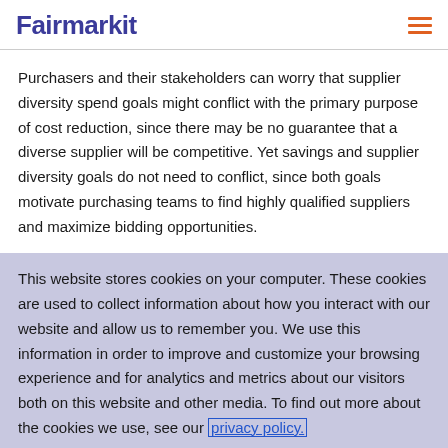Fairmarkit
Purchasers and their stakeholders can worry that supplier diversity spend goals might conflict with the primary purpose of cost reduction, since there may be no guarantee that a diverse supplier will be competitive. Yet savings and supplier diversity goals do not need to conflict, since both goals motivate purchasing teams to find highly qualified suppliers and maximize bidding opportunities.
This website stores cookies on your computer. These cookies are used to collect information about how you interact with our website and allow us to remember you. We use this information in order to improve and customize your browsing experience and for analytics and metrics about our visitors both on this website and other media. To find out more about the cookies we use, see our privacy policy.